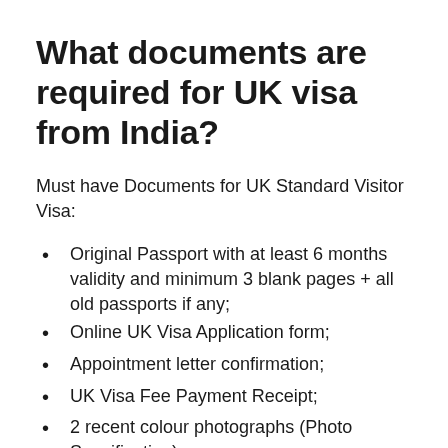What documents are required for UK visa from India?
Must have Documents for UK Standard Visitor Visa:
Original Passport with at least 6 months validity and minimum 3 blank pages + all old passports if any;
Online UK Visa Application form;
Appointment letter confirmation;
UK Visa Fee Payment Receipt;
2 recent colour photographs (Photo Specification);